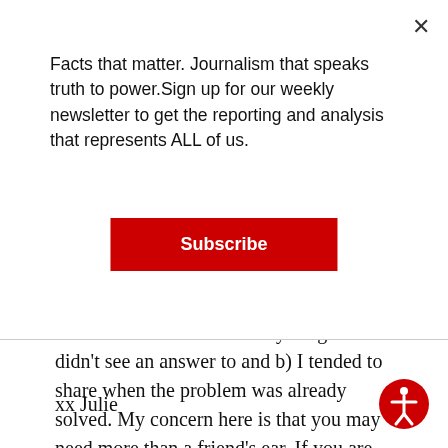Facts that matter. Journalism that speaks truth to power.Sign up for our weekly newsletter to get the reporting and analysis that represents ALL of us.
Subscribe
was hard for me to share anything that I didn't see an answer to and b) I tended to share when the problem was already solved. My concern here is that you may need more than a friend's ear. If you are indeed in a depression, you might want to talk to a therapist, or even join a group therapy. I know it's not a quid pro quo thing but any good friend deserves to be heard and any feelings are valid and should be expressed.
xx Julie